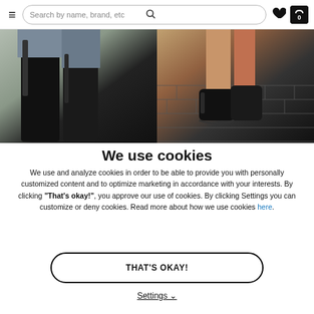Search by name, brand, etc
[Figure (photo): Two side-by-side product lifestyle photos showing boots/footwear on models]
We use cookies
We use and analyze cookies in order to be able to provide you with personally customized content and to optimize marketing in accordance with your interests. By clicking "That's okay!", you approve our use of cookies. By clicking Settings you can customize or deny cookies. Read more about how we use cookies here.
THAT'S OKAY!
Settings